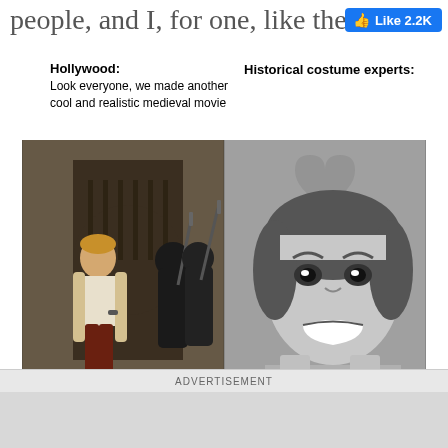people, and I, for one, like the costu...
[Figure (screenshot): Facebook Like button showing 2.2K likes]
Hollywood: Look everyone, we made another cool and realistic medieval movie
Historical costume experts:
[Figure (photo): Left panel: color photo of a man in medieval-style costume with open shirt, fur-lined coat, dark pants, standing in front of a stone archway with hooded figures holding spears in the background. Right panel: black and white photo of a woman with curly hair making a horrified/cringing facial expression.]
ADVERTISEMENT